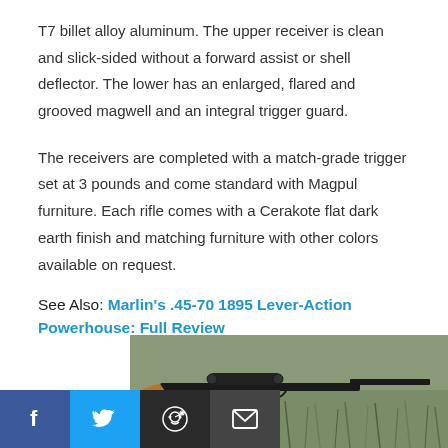T7 billet alloy aluminum. The upper receiver is clean and slick-sided without a forward assist or shell deflector. The lower has an enlarged, flared and grooved magwell and an integral trigger guard.
The receivers are completed with a match-grade trigger set at 3 pounds and come standard with Magpul furniture. Each rifle comes with a Cerakote flat dark earth finish and matching furniture with other colors available on request.
See Also: Marlin's .45-70 1895 Lever-Action Powerhouse: Full Review
[Figure (photo): Photo of a rifle with wooden stock lying on grass, with social sharing bar (Facebook, Twitter, Reddit, Email) at the bottom left.]